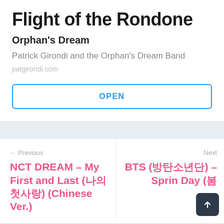Flight of the Rondone
Orphan's Dream
Patrick Girondi and the Orphan's Dream Band
patgirondi.com
OPEN
← Previous
NCT DREAM – My First and Last (나의 첫사랑) (Chinese Ver.)
Next
BTS (방탄소년단) – Spring Day (봄날)